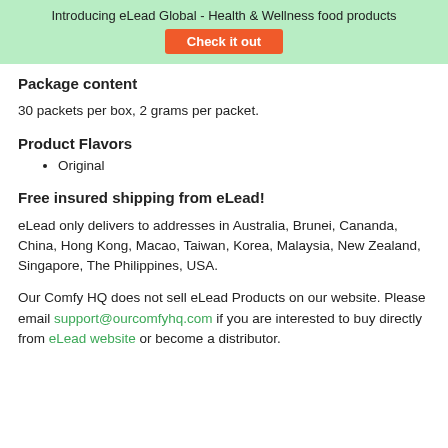Introducing eLead Global - Health & Wellness food products
Package content
30 packets per box, 2 grams per packet.
Product Flavors
Original
Free insured shipping from eLead!
eLead only delivers to addresses in Australia, Brunei, Cananda, China, Hong Kong, Macao, Taiwan, Korea, Malaysia, New Zealand, Singapore, The Philippines, USA.
Our Comfy HQ does not sell eLead Products on our website. Please email support@ourcomfyhq.com if you are interested to buy directly from eLead website or become a distributor.